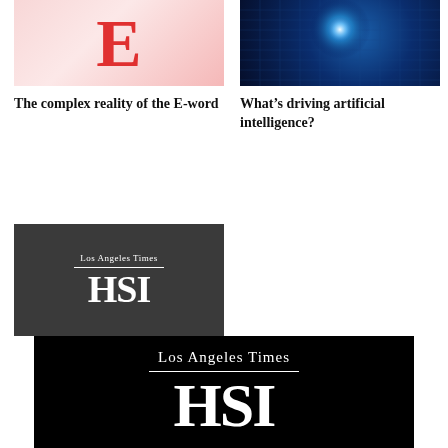[Figure (illustration): Thumbnail image for article about the E-word: pink/red background with large red letter E]
The complex reality of the E-word
[Figure (illustration): Thumbnail image for AI article: glowing blue sphere with network grid on dark background]
What's driving artificial intelligence?
[Figure (logo): Los Angeles Times HSI logo on dark gray background]
Opinion: The value of investing as a teen
[Figure (logo): Los Angeles Times HSI logo on black background, large version, partially visible]